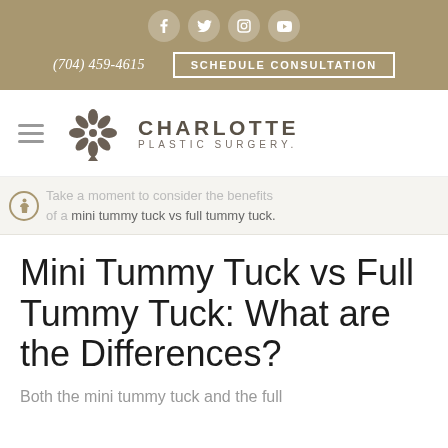Social icons: Facebook, Twitter, Instagram, YouTube | (704) 459-4615 | SCHEDULE CONSULTATION
[Figure (logo): Charlotte Plastic Surgery logo with decorative floral emblem and text CHARLOTTE PLASTIC SURGERY.]
Take a moment to consider the benefits of a mini tummy tuck vs full tummy tuck.
Mini Tummy Tuck vs Full Tummy Tuck: What are the Differences?
Both the mini tummy tuck and the full